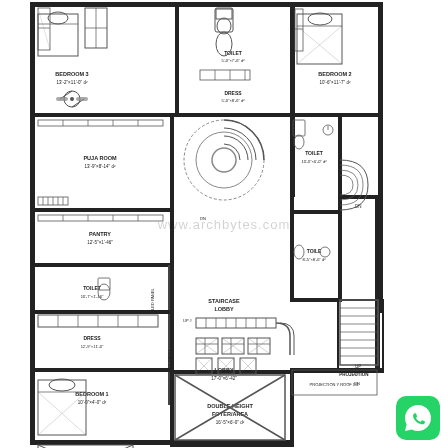[Figure (engineering-diagram): Architectural floor plan of a multi-bedroom house showing: Bedroom 3, Bedroom 2, Bedroom 1, Puja Room, Pantry, Toilet (multiple), Dress (dressing rooms), Lobby, Staircase Lobby, Double Height Foyer/Area, Projection, LED Panel areas, and various furniture symbols including beds, wardrobes, seating, and bathroom fixtures. Watermark: www.archbytes.com. WhatsApp button in bottom right corner.]